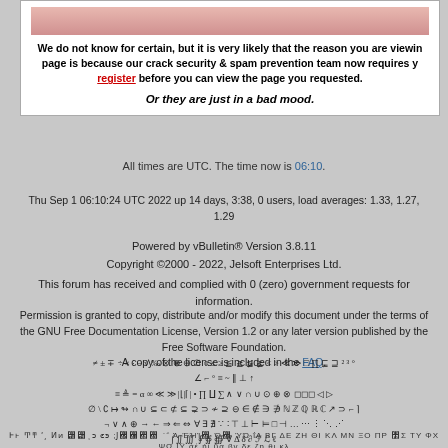[Figure (photo): Partial face/head image at top of white box]
We do not know for certain, but it is very likely that the reason you are viewing this page is because our crack security & spam prevention team now requires you to register before you can view the page you requested.
Or they are just in a bad mood.
All times are UTC. The time now is 06:10.
Thu Sep 1 06:10:24 UTC 2022 up 14 days, 3:38, 0 users, load averages: 1.33, 1.27, 1.29
Powered by vBulletin® Version 3.8.11
Copyright ©2000 - 2022, Jelsoft Enterprises Ltd.
This forum has received and complied with 0 (zero) government requests for information.
Permission is granted to copy, distribute and/or modify this document under the terms of the GNU Free Documentation License, Version 1.2 or any later version published by the Free Software Foundation.
A copy of the license is included in the FAQ.
≠ ± ∓ ÷ × · − √ ‰ ⊗ ⊕ ⊖ ∅ ○ ≤ ≥ ≦ ≧ ≨ ≩ < > ≪ ≫ □ ∏ ⊑ ⊒ ² ³ °
∠ ∟ ° ≡ ~ ‖ ⊥ ↑
≡ ≜ = α ∞ ≪ ≫ |⌊|⌈| • ∏ ∐ ∑ ∧ ∨ ∩ ∪ ⊙ ⊕ ⊗ ◻◻◻ ◁ ▷
∅ \ ∁ ↦ ↬ ∩ ∪ ⊆ ⊂ ⊄ ⊆ ⊋ ⊃ ≁ ⊇ ⊖ ∈ ∉ ∋ ∌ ℕ ℤ ℚ ℝ ℂ ↗ ⊃ ⌐ ⌉
¬ ∨ ∧ ⊕ → ← ⇒ ⇐ ⇔ ∀ ∃ ∄ ∵ ∶ ⊤ ⊥ ⊢ ⊨ □ ⊣ … ⋯ ⋮ ⋱ ⋰
∫ ∬ ∭ ∮ ∯ ∰ ∇ Δ δ ∂ ℱ ℒ ℓ